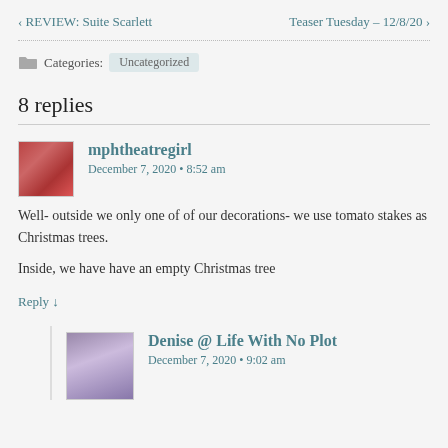‹ REVIEW: Suite Scarlett    Teaser Tuesday – 12/8/20 ›
Categories: Uncategorized
8 replies
mphtheatregirl
December 7, 2020 • 8:52 am
Well- outside we only one of of our decorations- we use tomato stakes as Christmas trees.

Inside, we have have an empty Christmas tree
Reply ↓
Denise @ Life With No Plot
December 7, 2020 • 9:02 am